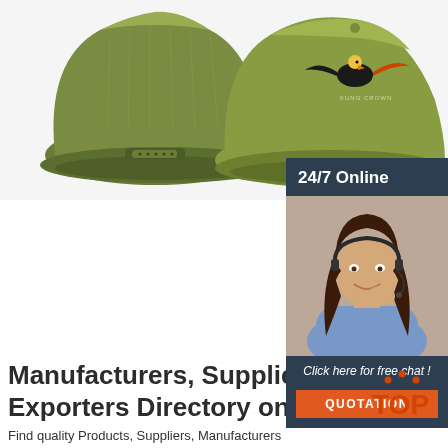[Figure (photo): Two olive/army green trucker caps shown from back and front. The front cap has an eagle emblem and 'KUNG CROWN' text.]
[Figure (photo): 24/7 Online customer service widget showing a smiling woman with a headset, with a 'Click here for free chat!' message and an orange QUOTATION button.]
Manufacturers, Suppliers & Exporters Directory on ...
Find quality Products, Suppliers, Manufacturers and Exporters by categories here. Alibaba as the largest B2B marketplace provides you large database of export and import trade leads from Importers, Exporters, Manufacturers, and Suppliers all over the world on Agriculture Apparel Automobiles & Motorcycles
[Figure (logo): Orange 'TOP' badge with dotted arc above text]